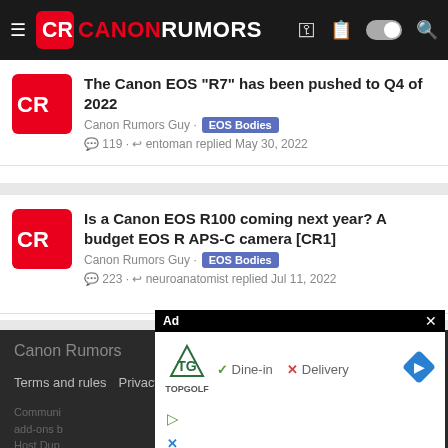Canon Rumors
The Canon EOS “R7” has been pushed to Q4 of 2022
Canon Rumors Guy · EOS Bodies · 119 · entoman replied May 30, 2022
Is a Canon EOS R100 coming next year? A budget EOS R APS-C camera [CR1]
Canon Rumors Guy · EOS Bodies · 223 · neuroanatomist replied Jul 11, 2022
Canon Rumors
Terms and rules · Privacy policy · Help · Home
Community … style and add-ons by … Host Dup…
[Figure (screenshot): Advertisement overlay showing TopGolf ad with Dine-in and Delivery options and a navigation icon]